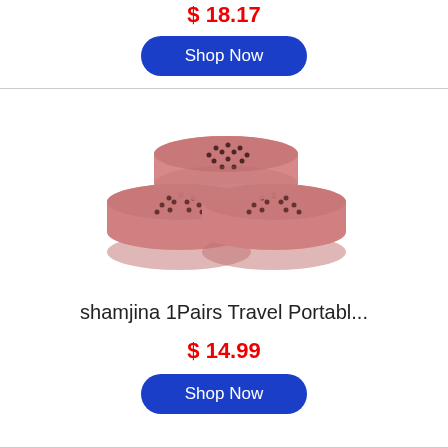$ 18.17
Shop Now
[Figure (photo): Three round pink/rose-colored compact containers with perforated lids, stacked in a triangular arrangement]
shamjina 1Pairs Travel Portabl...
$ 14.99
Shop Now